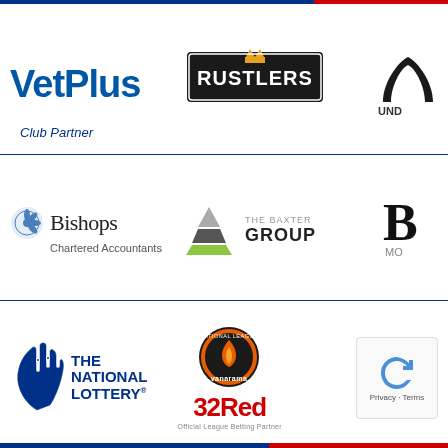[Figure (logo): VetPlus logo - blue bold text]
[Figure (logo): Rustlers logo - stylized western font on dark background]
[Figure (logo): Under Armour logo - partially visible]
Club Partner
[Figure (logo): Bishops Chartered Accountants logo with blue snowflake icon]
[Figure (logo): The Baxter Group logo with pyramid graphic]
[Figure (logo): Bo... Mo... partial logo]
[Figure (logo): The National Lottery logo with crossed fingers hand]
[Figure (logo): Vanarama National League logo - orange circle]
[Figure (logo): 32Red Official League Betting Partner logo]
[Figure (other): reCAPTCHA widget with Privacy and Terms links]